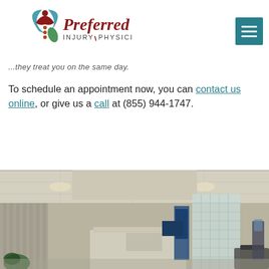[Figure (logo): Preferred Injury Physicians logo with stylized figure and teal/red color scheme]
...they treat you on the same day.
To schedule an appointment now, you can contact us online, or give us a call at (855) 944-1747.
[Figure (photo): Interior photo of Preferred Injury Physicians office waiting area with recessed lighting and glass block wall]